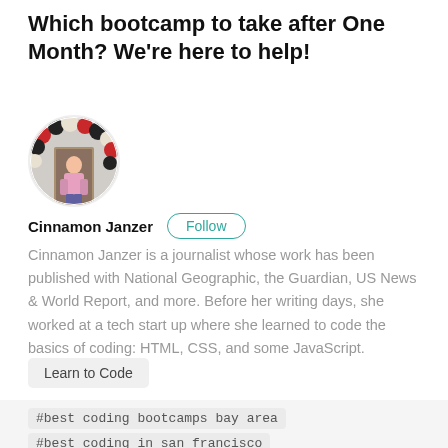Which bootcamp to take after One Month? We're here to help!
[Figure (photo): Circular profile photo of Cinnamon Janzer, a woman standing in front of a balloon arch with red, black, and white balloons, wearing a pink outfit.]
Cinnamon Janzer   Follow
Cinnamon Janzer is a journalist whose work has been published with National Geographic, the Guardian, US News & World Report, and more. Before her writing days, she worked at a tech start up where she learned to code the basics of coding: HTML, CSS, and some JavaScript.
Learn to Code
#best coding bootcamps bay area
#best coding in san francisco   #coding bootcamps